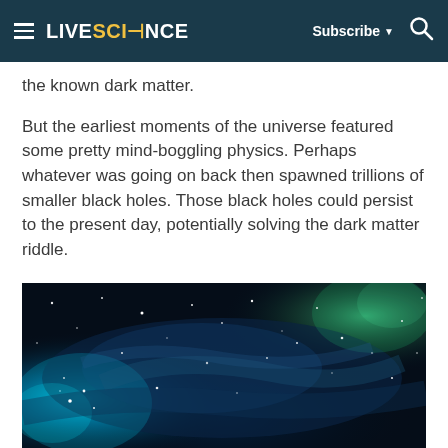LIVESCIENCE — Subscribe ▼ 🔍
the known dark matter.
But the earliest moments of the universe featured some pretty mind-boggling physics. Perhaps whatever was going on back then spawned trillions of smaller black holes. Those black holes could persist to the present day, potentially solving the dark matter riddle.
But to explain dark matter, the theory would have to make enough black holes.
[Figure (photo): Space image showing a dark cosmic nebula with blue and teal glowing clouds, stars scattered throughout, representing outer space or a galaxy scene.]